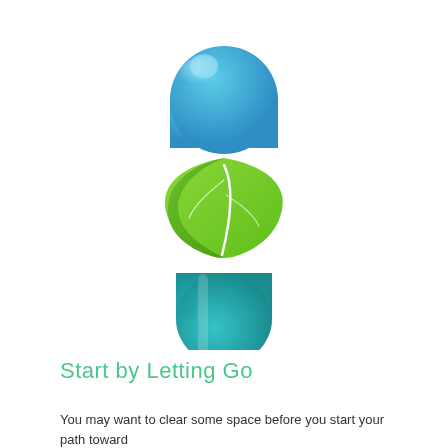[Figure (illustration): A capsule pill split open with a green leaf in the middle. The top half is blue, the bottom half is teal/cyan, and a green leaf sits between the two halves, representing natural or herbal medicine.]
Start by Letting Go
You may want to clear some space before you start your path toward